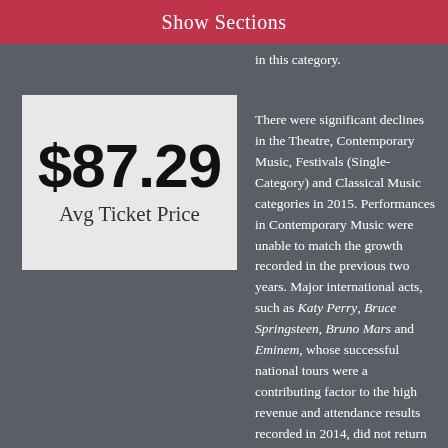Show Sections
in this category.
[Figure (infographic): Stat box showing $87.29 Avg Ticket Price]
There were significant declines in the Theatre, Contemporary Music, Festivals (Single-Category) and Classical Music categories in 2015. Performances in Contemporary Music were unable to match the growth recorded in the previous two years. Major international acts, such as Katy Perry, Bruce Springsteen, Bruno Mars and Eminem, whose successful national tours were a contributing factor to the high revenue and attendance results recorded in 2014, did not return in 2015. The significant decline in both revenue and attendance for Festivals (Single-